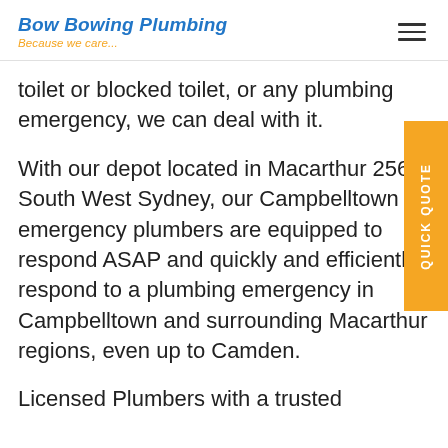Bow Bowing Plumbing — Because we care...
toilet or blocked toilet, or any plumbing emergency, we can deal with it.
With our depot located in Macarthur 2560 South West Sydney, our Campbelltown emergency plumbers are equipped to respond ASAP and quickly and efficiently respond to a plumbing emergency in Campbelltown and surrounding Macarthur regions, even up to Camden.
Licensed Plumbers with a trusted